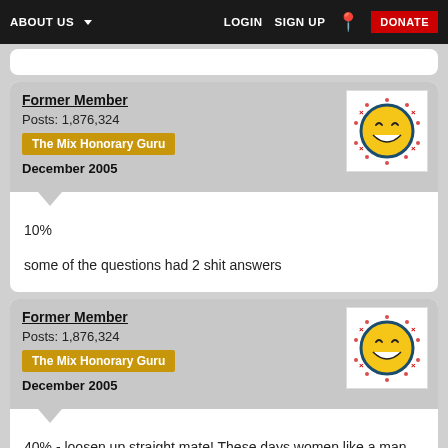ABOUT US  LOGIN  SIGN UP  DONATE
Former Member
Posts: 1,876,324
The Mix Honorary Guru
December 2005
10%
some of the questions had 2 shit answers
Former Member
Posts: 1,876,324
The Mix Honorary Guru
December 2005
40% - loosen up straight mate! These days women like a man